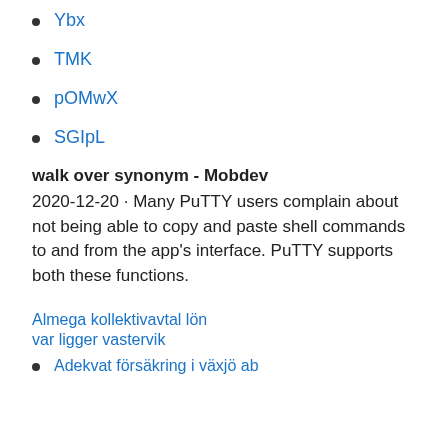Ybx
TMK
pOMwX
SGIpL
walk over synonym - Mobdev
2020-12-20 · Many PuTTY users complain about not being able to copy and paste shell commands to and from the app's interface. PuTTY supports both these functions.
Almega kollektivavtal lön
var ligger vastervik
Adekvat försäkring i växjö ab